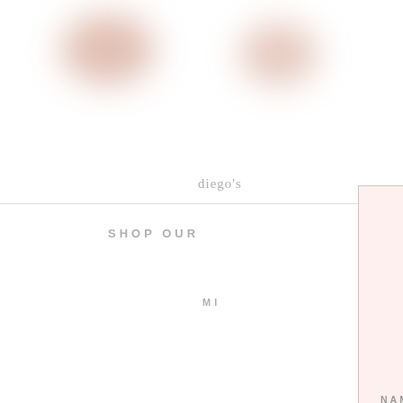[Figure (screenshot): Background website screenshot showing blurred product image blobs at top, partial navigation with 'diego's' branding, 'SHOP OUR' and 'MI' navigation labels, and a cookie consent banner at bottom left.]
We are using cookies to give
website.
You can find out more about
switch them off in settings.
Accept
[Figure (screenshot): Email signup modal overlay with blush/pink background. Title: LET'S KEE / TOUCH. Body text: Want to be the first to know a give-away or can't-miss deals fr brands? Input fields for NAME and EMAIL ADDRESS with underlines, and a partially visible bottom box.]
LET'S KEE
TOUCH
Want to be the first to know a
give-away or can't-miss deals fr
brands?
NAME
EMAIL ADDRESS